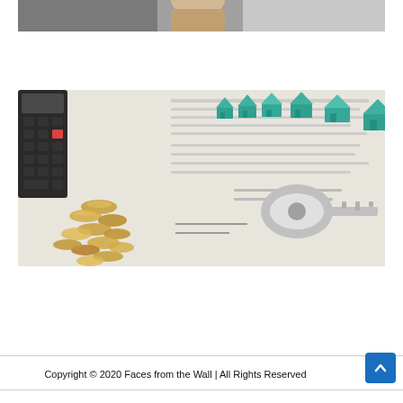[Figure (photo): Partial view of a person, cropped at top of page]
[Figure (photo): Real estate finance themed photo: a calculator, scattered coins, a house key, small teal toy houses arranged on a document/contract, suggesting mortgage or property finance]
Copyright © 2020 Faces from the Wall | All Rights Reserved